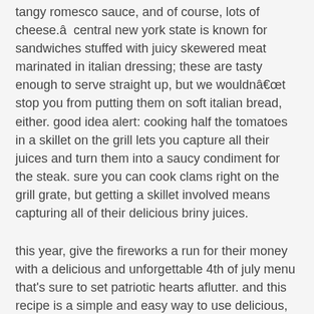tangy romesco sauce, and of course, lots of cheese.â  central new york state is known for sandwiches stuffed with juicy skewered meat marinated in italian dressing; these are tasty enough to serve straight up, but we wouldnât stop you from putting them on soft italian bread, either. good idea alert: cooking half the tomatoes in a skillet on the grill lets you capture all their juices and turn them into a saucy condiment for the steak. sure you can cook clams right on the grill grate, but getting a skillet involved means capturing all of their delicious briny juices.
this year, give the fireworks a run for their money with a delicious and unforgettable 4th of july menu that's sure to set patriotic hearts aflutter. and this recipe is a simple and easy way to use delicious, peak-season fruit. this summery crunch-tastic slaw is guaranteed to find its way into your recipe rotation for the rest of the season. this chicken is wonderfully moist, with a smoky sauce that will